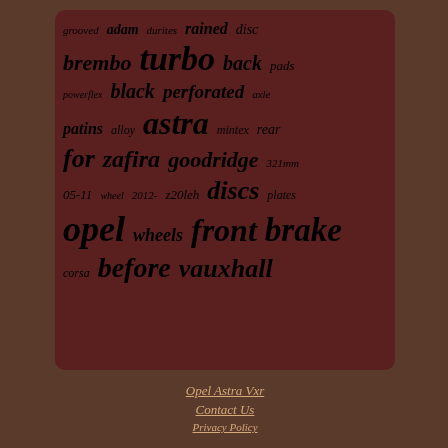[Figure (infographic): Tag cloud of automotive brake-related keywords on dark brown background. Words in varying sizes include: grooved, adam, durites, rained, disc, brembo, turbo, back, pads, powerflex, black, perforated, axle, patins, alloy, astra, mintex, rear, for, zafira, goodridge, 321mm, 05-11, wheel, 2012-, z20leh, discs, plates, opel, wheels, front, brake, corsa, before, vauxhall]
Opel Astra Vxr
Contact Us
Privacy Policy